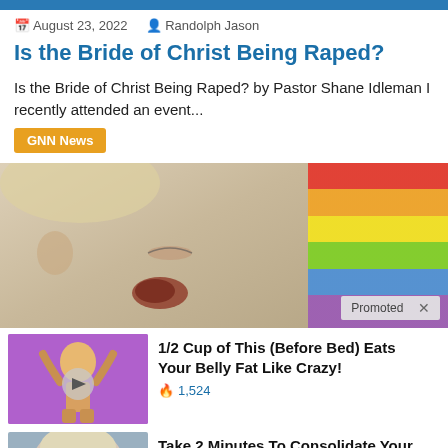August 23, 2022   Randolph Jason
Is the Bride of Christ Being Raped?
Is the Bride of Christ Being Raped? by Pastor Shane Idleman I recently attended an event...
GNN News
[Figure (photo): Close-up of a woman's face with eyes closed and a wound on her cheek, with a rainbow-colored background on the right side. A 'Promoted X' badge appears in the lower right.]
[Figure (illustration): Thumbnail showing an illustrated figure with arms raised on a purple background with a play button]
1/2 Cup of This (Before Bed) Eats Your Belly Fat Like Crazy!
1,524
[Figure (photo): Thumbnail showing a blonde woman's face on a blue/grey background]
Take 2 Minutes To Consolidate Your Debt At The Lowest Rate Possible